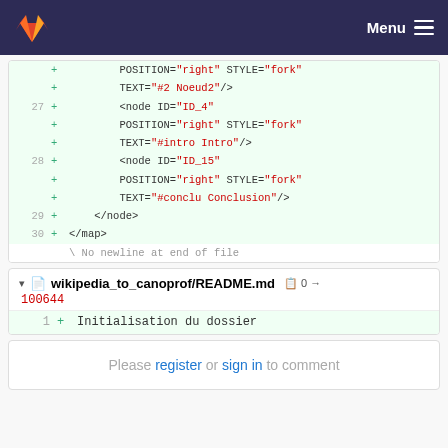[Figure (screenshot): GitLab navigation bar with orange fox logo and Menu hamburger icon on dark purple background]
POSITION="right" STYLE="fork"
    TEXT="#2 Noeud2"/>
27 + <node ID="ID_4"
    POSITION="right" STYLE="fork"
    TEXT="#intro Intro"/>
28 + <node ID="ID_15"
    POSITION="right" STYLE="fork"
    TEXT="#conclu Conclusion"/>
29 + </node>
30 + </map>
   \ No newline at end of file
wikipedia_to_canoprof/README.md 0 → 100644
1 + Initialisation du dossier
Please register or sign in to comment